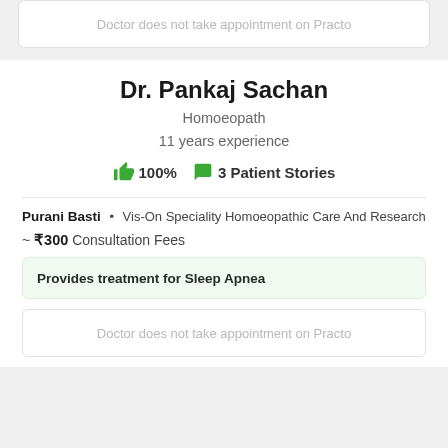Doctor does not take appointment on Practo
Dr. Pankaj Sachan
Homoeopath
11 years experience
100%   3 Patient Stories
Purani Basti • Vis-On Speciality Homoeopathic Care And Research
~ ₹300 Consultation Fees
Provides treatment for Sleep Apnea
Doctor does not take appointment on Practo